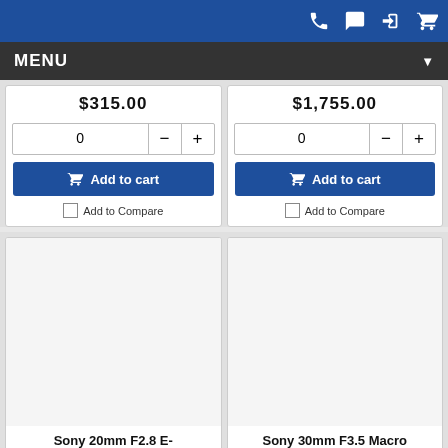MENU
$315.00
$1,755.00
Add to cart
Add to cart
Add to Compare
Add to Compare
Sony 20mm F2.8 E-
Sony 30mm F3.5 Macro